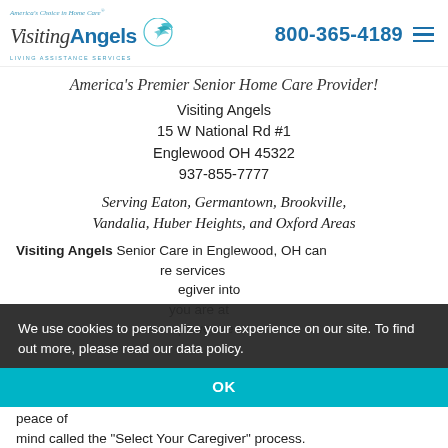Visiting Angels | 800-365-4189
America's Premier Senior Home Care Provider!
Visiting Angels
15 W National Rd #1
Englewood OH 45322
937-855-7777
Serving Eaton, Germantown, Brookville, Vandalia, Huber Heights, and Oxford Areas
Visiting Angels Senior Care in Englewood, OH can ...re services ...egiver into ...you are at ...p, we are
We use cookies to personalize your experience on our site. To find out more, please read our data policy.
OK
peace of mind called the "Select Your Caregiver" process.